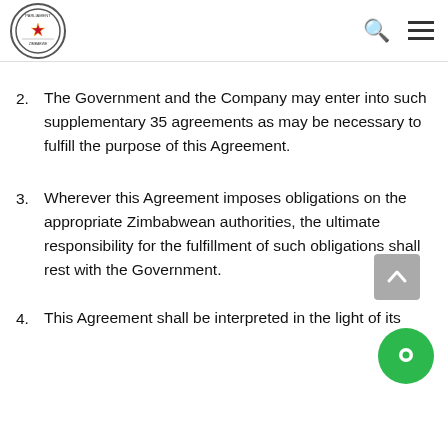Parliament of Zimbabwe
2. The Government and the Company may enter into such supplementary 35 agreements as may be necessary to fulfill the purpose of this Agreement.
3. Wherever this Agreement imposes obligations on the appropriate Zimbabwean authorities, the ultimate responsibility for the fulfillment of such obligations shall rest with the Government.
4. This Agreement shall be interpreted in the light of its